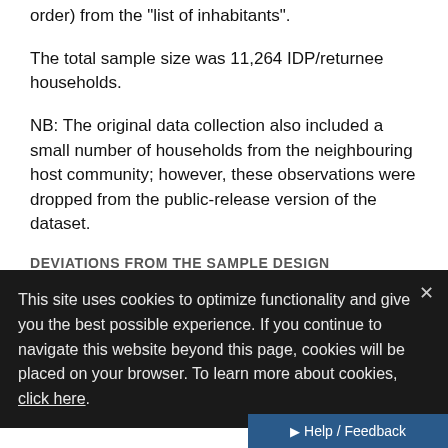order) from the "list of inhabitants".
The total sample size was 11,264 IDP/returnee households.
NB: The original data collection also included a small number of households from the neighbouring host community; however, these observations were dropped from the public-release version of the dataset.
DEVIATIONS FROM THE SAMPLE DESIGN
None
RESPONSE RATE:
Information unavailable
This site uses cookies to optimize functionality and give you the best possible experience. If you continue to navigate this website beyond this page, cookies will be placed on your browser. To learn more about cookies, click here.